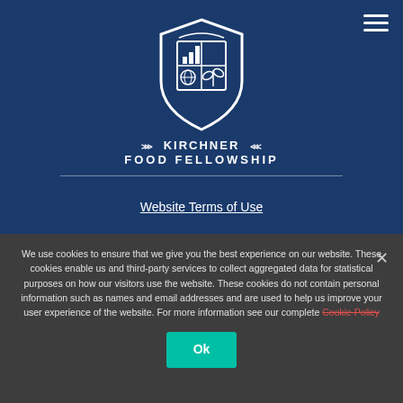[Figure (logo): Kirchner Food Fellowship shield logo in white on dark blue background, featuring a bar chart, globe, and plant/leaf icons inside a shield shape]
KIRCHNER FOOD FELLOWSHIP
Website Terms of Use
We use cookies to ensure that we give you the best experience on our website. These cookies enable us and third-party services to collect aggregated data for statistical purposes on how our visitors use the website. These cookies do not contain personal information such as names and email addresses and are used to help us improve your user experience of the website. For more information see our complete Cookie Policy
Ok